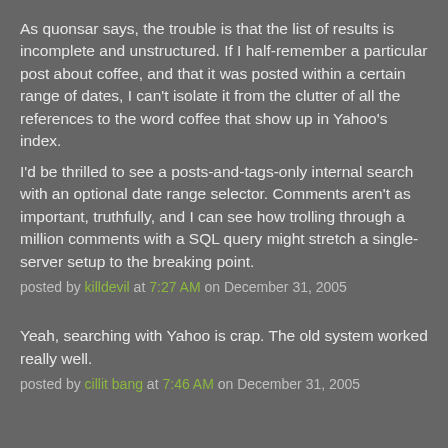As quonsar says, the trouble is that the list of results is incomplete and unstructured. If I half-remember a particular post about coffee, and that it was posted within a certain range of dates, I can't isolate it from the clutter of all the references to the word coffee that show up in Yahoo's index.
I'd be thrilled to see a posts-and-tags-only internal search with an optional date range selector. Comments aren't as important, truthfully, and I can see how trolling through a million comments with a SQL query might stretch a single-server setup to the breaking point.
posted by killdevil at 7:27 AM on December 31, 2005
Yeah, searching with Yahoo is crap. The old system worked really well.
posted by cillit bang at 7:46 AM on December 31, 2005